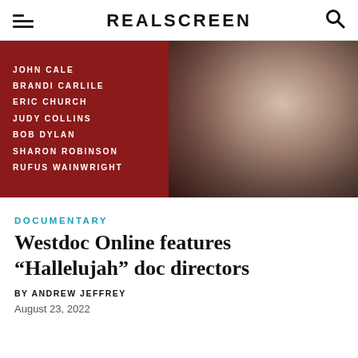REALSCREEN
[Figure (photo): Promotional image for a documentary about Leonard Cohen's Hallelujah, featuring a close-up of an elderly man's face on the right half and a red background on the left with names: JOHN CALE, BRANDI CARLILE, ERIC CHURCH, JUDY COLLINS, BOB DYLAN, SHARON ROBINSON, RUFUS WAINWRIGHT]
DOCUMENTARY
Westdoc Online features “Hallelujah” doc directors
BY ANDREW JEFFREY
August 23, 2022